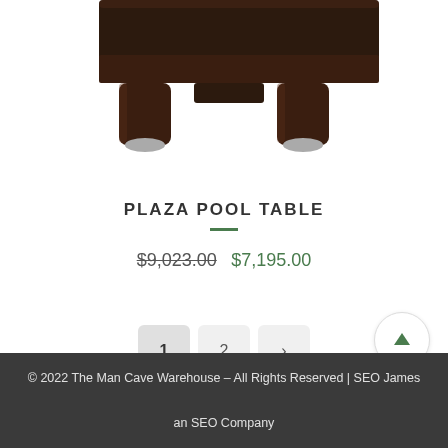[Figure (photo): Partial view of a dark wood pool table with silver feet, cropped at top of page]
PLAZA POOL TABLE
$9,023.00 $7,195.00
Pagination: 1 2 >
© 2022 The Man Cave Warehouse – All Rights Reserved | SEO James an SEO Company